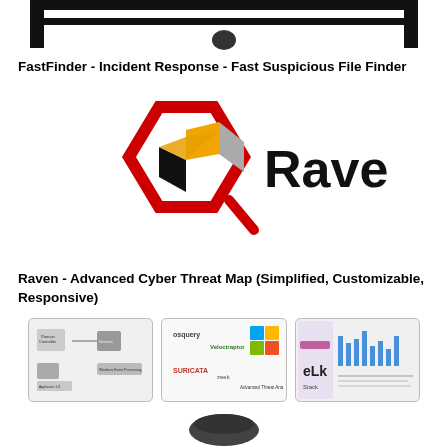[Figure (screenshot): Top navigation bar with thick black horizontal lines and a small dark circular element centered below]
FastFinder - Incident Response - Fast Suspicious File Finder
[Figure (logo): Raven logo: red hexagon outline with a 3D cube (black, orange, gray faces) inside and a magnifying glass handle; 'Raven' text in bold black to the right]
Raven - Advanced Cyber Threat Map (Simplified, Customizable, Responsive)
[Figure (screenshot): Three screenshot thumbnails: left shows a domain controller network diagram, center shows logos of osquery, Velociraptor, Suricata, Zeek, Sysmon, and other tools, right shows a dark UI with elk stack and bar chart]
[Figure (screenshot): Partial view of a dark device/appliance at the bottom of the page]